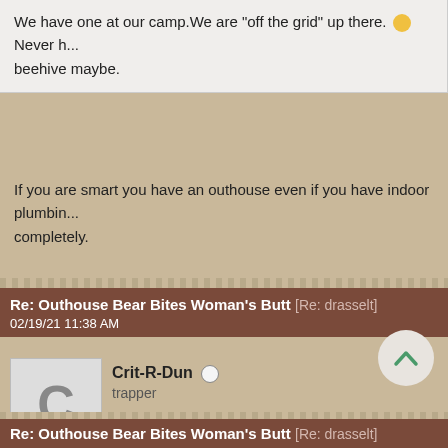We have one at our camp.We are "off the grid" up there. 🙂 Never h... beehive maybe.
If you are smart you have an outhouse even if you have indoor plumbin... completely.
Re: Outhouse Bear Bites Woman's Butt [Re: drasselt]
02/19/21 11:38 AM
Crit-R-Dun
trapper
At least I can stop worrying about spiders now. .
Re: Outhouse Bear Bites Woman's Butt [Re: drasselt]